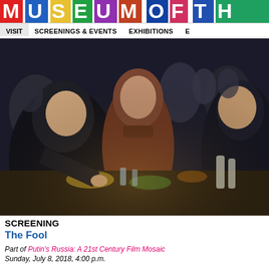MUSEUM OF TH
VISIT  SCREENINGS & EVENTS  EXHIBITIONS  E
[Figure (photo): Scene from the film 'The Fool' showing several people seated around a dinner table with food and drinks, in a dimly lit setting.]
SCREENING
The Fool
Part of Putin's Russia: A 21st Century Film Mosaic
Sunday, July 8, 2018, 4:00 p.m.